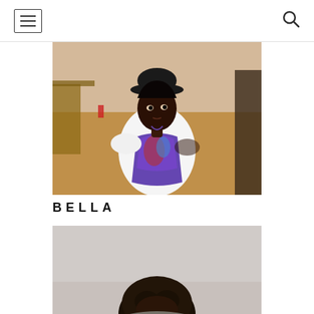Navigation header with hamburger menu and search icon
[Figure (photo): Young Black woman wearing a black bowler hat and white off-shoulder top with colorful patterned spaghetti-strap dress underneath, looking to the side with mouth slightly open, outdoor setting with sandy ground and wooden structures in background]
BELLA
[Figure (photo): Partial photo of a person with natural hair visible at bottom of page, gray/light background, cropped — only top of head visible]